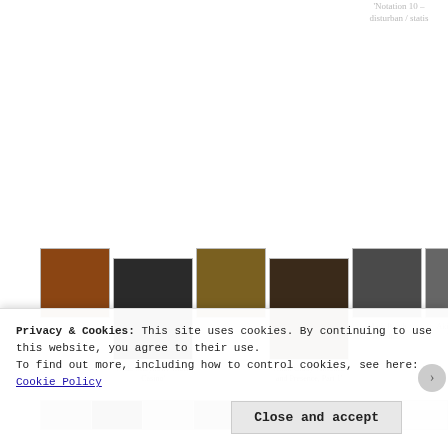'Notation 10 – disturban / statis
Michael Keighery 'The Dead Man's Penny'
[Figure (photo): Gallery row of artwork thumbnails including works by Wade Marynow, Allan Giddy, Mark Booth, Akira Kamada, and Rachel Walls]
Wade Marynow: 'Black Casino'
Allan Giddy 'Absence and Presence, Part 1'
Mark Booth 'Woodland
Akira Kamada 'Fragile'
Rachel Walls 'Pomegra
[Figure (photo): Partial bottom strip of gallery thumbnails]
Privacy & Cookies: This site uses cookies. By continuing to use this website, you agree to their use.
To find out more, including how to control cookies, see here: Cookie Policy
Close and accept